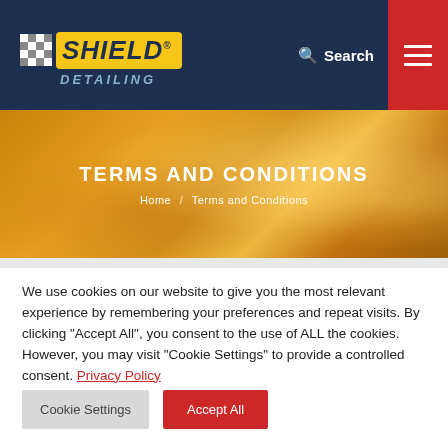[Figure (logo): Shield Detailing logo with checkered flag pattern, yellow badge with SHIELD text, and DETAILING subtitle on dark navy background]
TERMS AND CONDITIONS
Home / Terms and Conditions
We use cookies on our website to give you the most relevant experience by remembering your preferences and repeat visits. By clicking “Accept All”, you consent to the use of ALL the cookies. However, you may visit "Cookie Settings" to provide a controlled consent. Privacy Policy
Cookie Settings
Accept All